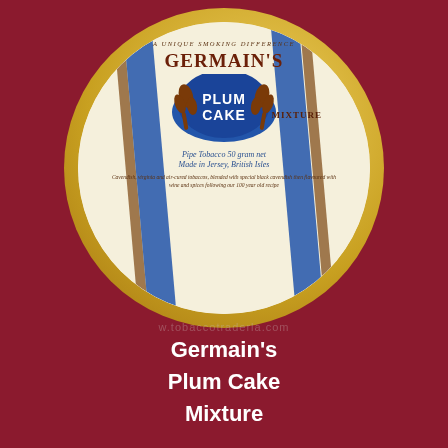[Figure (photo): Circular tobacco tin lid for Germain's Plum Cake Mixture. Cream background with blue diagonal stripes, gold rim. Text reads: A UNIQUE SMOKING DIFFERENCE, GERMAIN'S, PLUM CAKE MIXTURE in blue badge with wheat motifs, Pipe Tobacco 50 gram net, Made in Jersey, British Isles, and a description of the tobacco blend.]
w.tobaccotraderla.com
Germain's
Plum Cake
Mixture